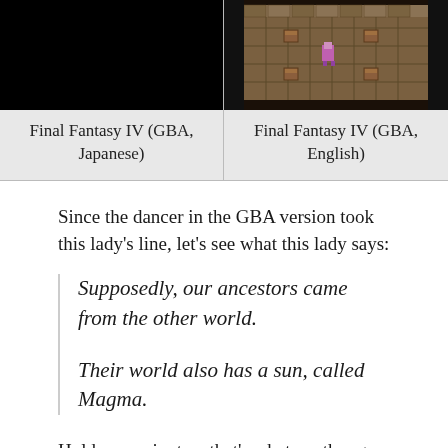[Figure (screenshot): Two side-by-side game screenshots from Final Fantasy IV (GBA). Left is mostly black. Right shows a top-down RPG dungeon scene with stone floors and a pink/purple character sprite.]
Final Fantasy IV (GBA, Japanese)
Final Fantasy IV (GBA, English)
Since the dancer in the GBA version took this lady's line, let's see what this lady says:
Supposedly, our ancestors came from the other world.
Their world also has a sun, called Magma.
Hold on a minute – that's what another guy said in this building! What's going on here?